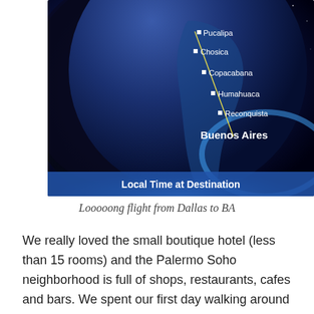[Figure (photo): Screenshot of an in-flight map display showing a route over South America with city labels: Pucalipa, Chosica, Copacabana, Humahuaca, Reconquista, Buenos Aires. The bottom of the screen shows 'Local Time at Destination' on a blue banner. The globe is shown against a dark space background with blue atmospheric glow.]
Looooong flight from Dallas to BA
We really loved the small boutique hotel (less than 15 rooms) and the Palermo Soho neighborhood is full of shops, restaurants, cafes and bars.  We spent our first day walking around the neighborhood and getting our bearings and then took an afternoon nap as we were wiped out from the long flight.  Palermo Soho also has